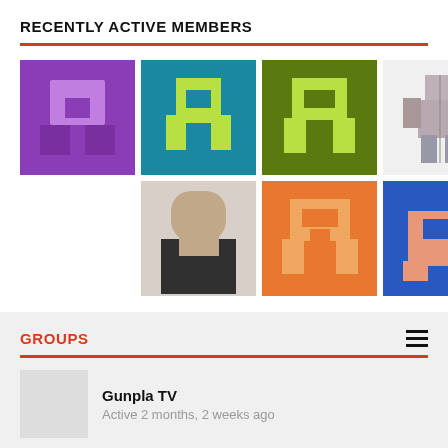RECENTLY ACTIVE MEMBERS
[Figure (screenshot): Grid of 9 member avatar images: pixel art and photos]
GROUPS
Gunpla TV
Active 2 months, 2 weeks ago